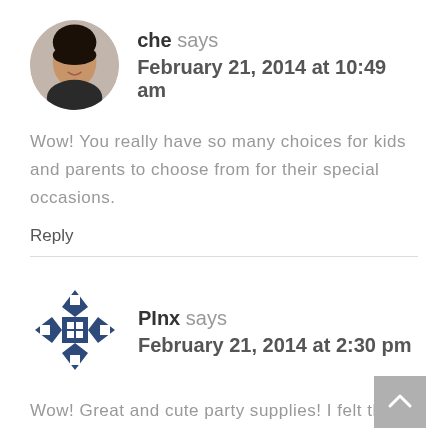[Figure (photo): Circular avatar photo of a woman named Che]
che says
February 21, 2014 at 10:49 am
Wow! You really have so many choices for kids and parents to choose from for their special occasions.
Reply
[Figure (logo): Pinx avatar icon — decorative geometric/diamond cross pattern in dark blue]
PInx says
February 21, 2014 at 2:30 pm
Wow! Great and cute party supplies! I felt the